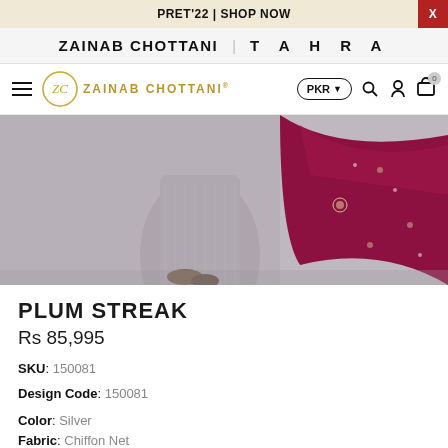PRET'22 | SHOP NOW
ZAINAB CHOTTANI | TAHRA
ZAINAB CHOTTANI® | PKR | Search | Account | Cart (0)
[Figure (photo): Product photo showing a model wearing a silver/grey outfit with embroidered details and a plum/magenta dupatta with decorative embellishments]
PLUM STREAK
Rs 85,995
SKU: 150081
Design Code: 150081
Color: Silver
Fabric: Chiffon Net
SIZE
XS
S
M
ML
L
XL
Custom Size